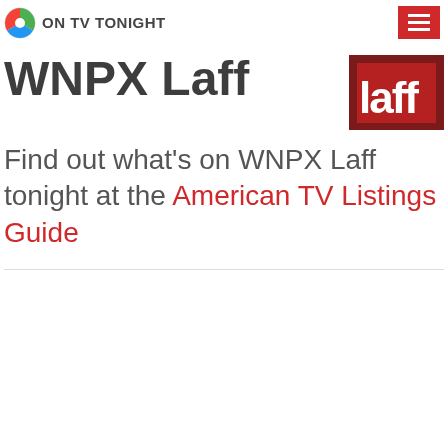ON TV TONIGHT
WNPX Laff
[Figure (logo): Laff network logo — dark red/maroon background with stylized white 'laff' lettering]
Find out what's on WNPX Laff tonight at the American TV Listings Guide